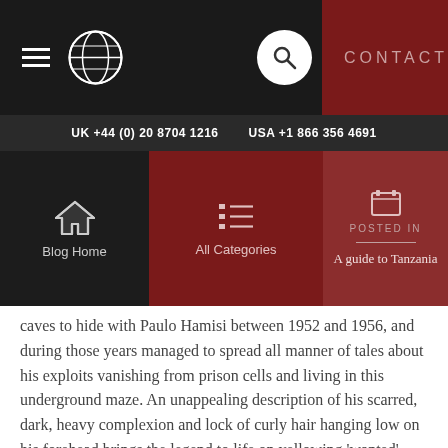[Figure (screenshot): Website top navigation bar with hamburger menu icon, globe icon, search icon on dark background, and CONTACT text on dark red background]
UK +44 (0) 20 8704 1216    USA +1 866 356 4691
[Figure (screenshot): Three navigation tiles: Blog Home (dark), All Categories (dark red), Posted In / A guide to Tanzania (medium dark red)]
caves to hide with Paulo Hamisi between 1952 and 1956, and during those years managed to spread all manner of tales about his exploits vanishing from prison cells and living in this underground maze. An unappealing description of his scarred, dark, heavy complexion and lock of curly hair hanging low on his forehead brings the legend to life on yellowing 'wanted' posters hanging in the guide's hut.
The caves are under the protection of the Antiquities Act of 1964, and it is possible to take a guided tour through many of the caves at Amboni. These exceptional natural rock formations are distinctly impressive, but do not expect more from the 'guided tour' than a map with a torch leading